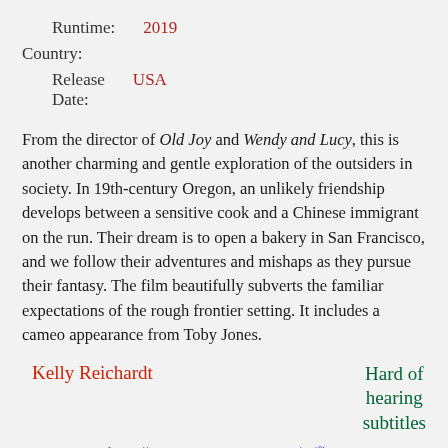Runtime: 2019
Country:
Release Date: USA
From the director of Old Joy and Wendy and Lucy, this is another charming and gentle exploration of the outsiders in society. In 19th-century Oregon, an unlikely friendship develops between a sensitive cook and a Chinese immigrant on the run. Their dream is to open a bakery in San Francisco, and we follow their adventures and mishaps as they pursue their fantasy. The film beautifully subverts the familiar expectations of the rough frontier setting. It includes a cameo appearance from Toby Jones.
Kelly Reichardt
Hard of hearing subtitles
https://www.rottentomatoes.com/m/first